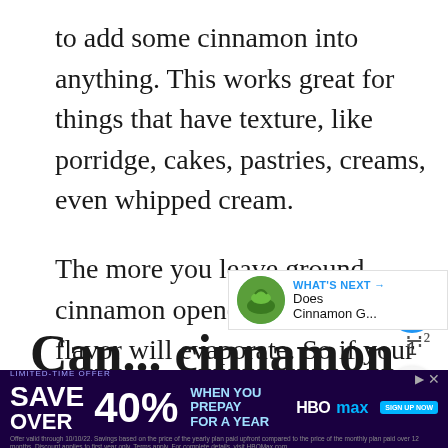to add some cinnamon into anything. This works great for things that have texture, like porridge, cakes, pastries, creams, even whipped cream.
The more you leave ground cinnamon opened, the more the flavor will evaporate. So if your packet of ground cinnamon was opened half a year ago, you won't be able do much with it. It's lost nearly all its flavor, and it will only taste like sawdust.
[Figure (screenshot): UI overlay elements: heart (like) button in blue circle with count 1, share button, and 'What's Next' card showing a green bowl thumbnail with text 'WHAT'S NEXT → Does Cinnamon G...']
Can... cinnamon in hot...
[Figure (screenshot): HBO Max advertisement banner: 'LIMITED-TIME OFFER SAVE OVER 40% WHEN YOU PREPAY FOR A YEAR HBO max SIGN UP NOW' with fine print about offer validity.]